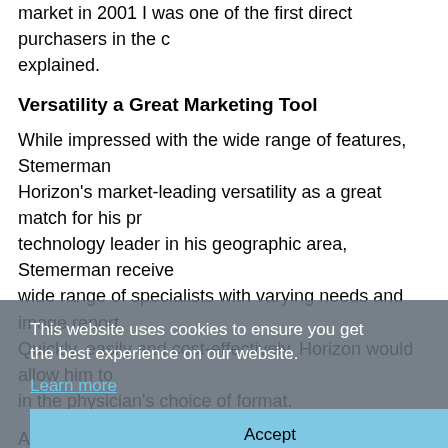market in 2001 I was one of the first direct purchasers in the explained.
Versatility a Great Marketing Tool
While impressed with the wide range of features, Stemerman Horizon's market-leading versatility as a great match for his pr technology leader in his geographic area, Stemerman receive wide range of specialists with varying needs and image report Quickly, easily and cost-effectively, Horizon would allow him t in the physician's choice of format.
A single, compact and affordable Horizon Multi-media Dry Ima crisp, high quality images in a full range of sizes and media. H advanced direct thermal and dye-diffusion technologies to prin resolution grayscale plus vibrant color with 16.7 million hues p is laser-quality output at a significantly more affordable cost. "The image quality is superb," said Stemerman.
Setting it apart in the marketplace, the Codonics Horizon outp film but also to durable DirectVista grayscale white film media to paper. "This paper-like media is significantly more affordab